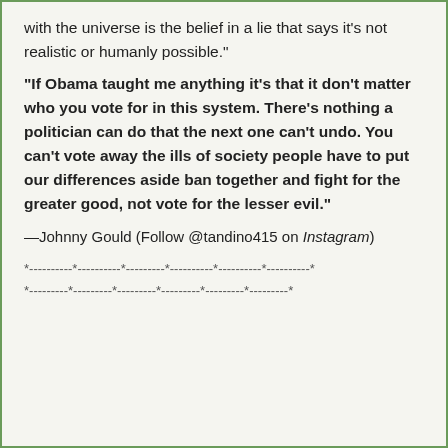with the universe is the belief in a lie that says it's not realistic or humanly possible."
"If Obama taught me anything it's that it don't matter who you vote for in this system. There's nothing a politician can do that the next one can't undo. You can't vote away the ills of society people have to put our differences aside ban together and fight for the greater good, not vote for the lesser evil."
—Johnny Gould (Follow @tandino415 on Instagram)
*----------*----------*---------*----------*----------*----------*
*---------*---------*---------*---------*---------*---------*